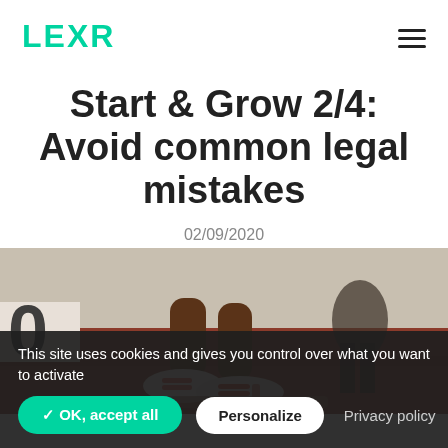LEXR
Start & Grow 2/4: Avoid common legal mistakes
02/09/2020
[Figure (photo): Close-up photo of an athlete's legs and sneakers on a running track, crouched at a starting position. Red track surface visible, white sneakers with orange/red stripes.]
This site uses cookies and gives you control over what you want to activate
✓ OK, accept all   Personalize   Privacy policy